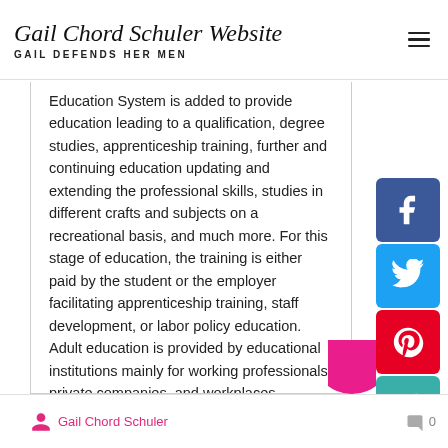Gail Chord Schuler Website — GAIL DEFENDS HER MEN
Education System is added to provide education leading to a qualification, degree studies, apprenticeship training, further and continuing education updating and extending the professional skills, studies in different crafts and subjects on a recreational basis, and much more. For this stage of education, the training is either paid by the student or the employer facilitating apprenticeship training, staff development, or labor policy education. Adult education is provided by educational institutions mainly for working professionals, private companies, and workplaces.
Gail Chord Schuler   0